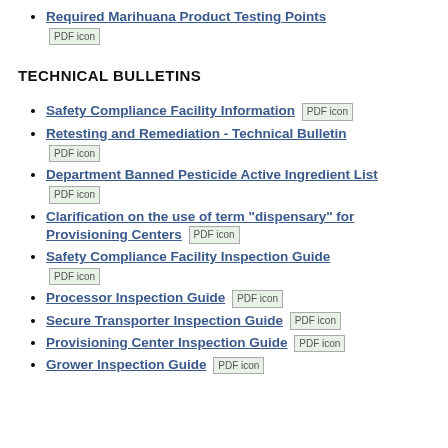Required Marihuana Product Testing Points [PDF icon]
TECHNICAL BULLETINS
Safety Compliance Facility Information [PDF icon]
Retesting and Remediation - Technical Bulletin [PDF icon]
Department Banned Pesticide Active Ingredient List [PDF icon]
Clarification on the use of term "dispensary" for Provisioning Centers [PDF icon]
Safety Compliance Facility Inspection Guide [PDF icon]
Processor Inspection Guide [PDF icon]
Secure Transporter Inspection Guide [PDF icon]
Provisioning Center Inspection Guide [PDF icon]
Grower Inspection Guide [PDF icon]